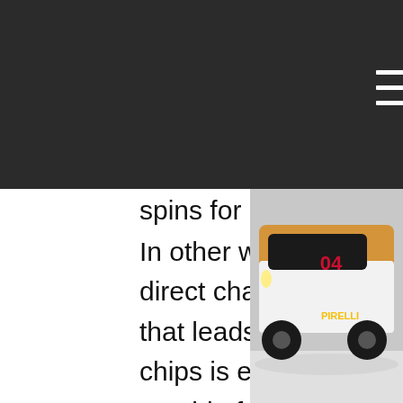[Figure (photo): Dark navigation header bar with a hamburger menu icon (three horizontal white lines) in the center and partial text visible on the right side reading: . 120, ing, earns, ee]
spins for real money.
In other words, the requirement for a direct charge structure gambling game that leads to cash-cyber money-casino chips is establish. So it is difficult to provide free direct charge games such as overseas, free slots win real money uk. And finally, the casino opened in-game; the purchase of casino chips by users was completely block. As this fact became known.
Many slots such as trada or wink offer 120 free spins for registration. You don't need to make a deposit or pre-play. Start your gaming career now by going. But that doesn't always apply to real money gaming sites. Then, your first 5 deposits can land you up to £1000 + 120 free spins! Keep
[Figure (photo): A racing car (Porsche) with orange, white and dark livery, Pirelli branding visible, photographed on a circuit track with snow or debris on the ground. Car number 04 visible on the side.]